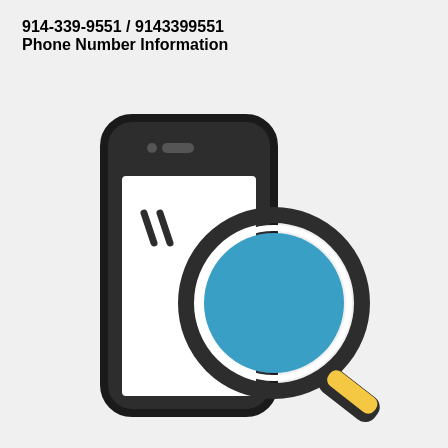914-339-9551 / 9143399551 Phone Number Information
[Figure (illustration): A flat-style icon showing a smartphone with a magnifying glass overlaid on it. The phone is dark gray/charcoal with a white screen showing two diagonal tick marks. The magnifying glass has a dark circular ring with a blue filled lens and a yellow/gold handle pointing to the lower right.]